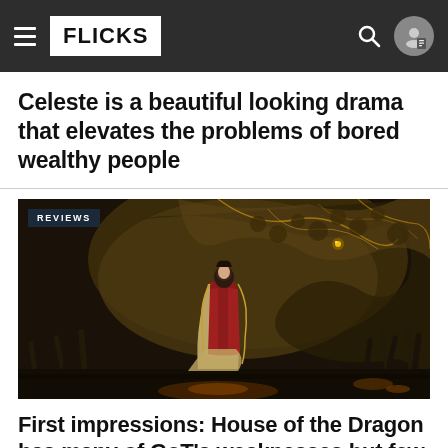FLICKS
Celeste is a beautiful looking drama that elevates the problems of bored wealthy people
[Figure (photo): Promotional still from House of the Dragon showing a woman in red robes standing in front of a large dragon, with a REVIEWS badge overlay in the top left corner.]
First impressions: House of the Dragon has many of GoT's weaknesses but few of its